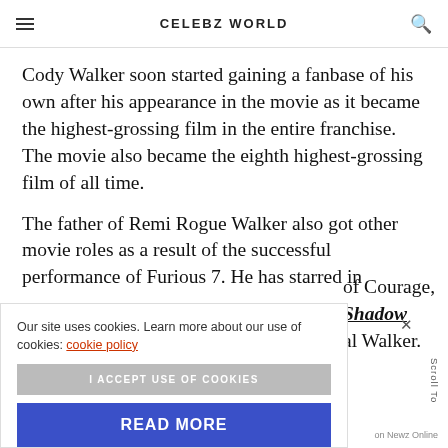CELEBZ WORLD
Cody Walker soon started gaining a fanbase of his own after his appearance in the movie as it became the highest-grossing film in the entire franchise. The movie also became the eighth highest-grossing film of all time.
The father of Remi Rogue Walker also got other movie roles as a result of the successful performance of Furious 7. He has starred in ... of Courage, Shadow ... al Walker.
Our site uses cookies. Learn more about our use of cookies: cookie policy
I ACCEPT USE OF COOKIES
READ MORE